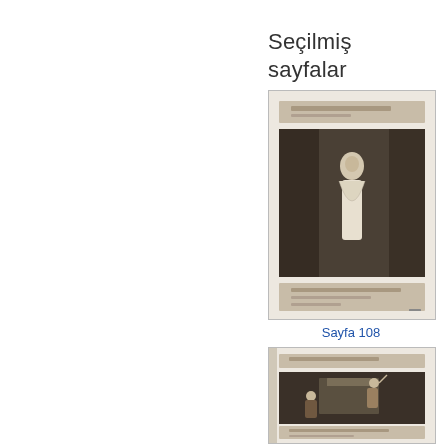Seçilmiş sayfalar
[Figure (illustration): Thumbnail of an old engraving showing a classical scene with figures, with text captions at top and bottom of the illustrated page.]
Sayfa 108
[Figure (illustration): Thumbnail of an old engraving showing a classical/dramatic scene with figures, partially visible, with text captions at top and bottom of the illustrated page.]